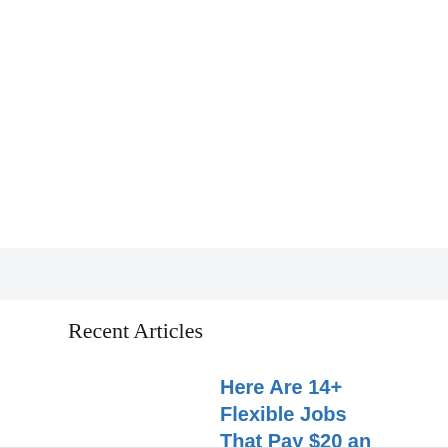Recent Articles
Here Are 14+ Flexible Jobs That Pay $20 an Hour